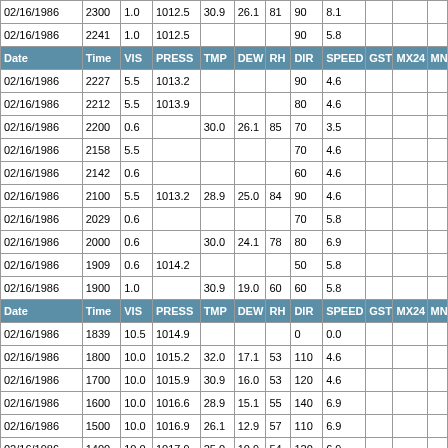| Date | Time | VIS | PRESS | TMP | DEW | RH | DIR | SPEED | GST | MX24 | MN |
| --- | --- | --- | --- | --- | --- | --- | --- | --- | --- | --- | --- |
| 02/16/1986 | 2300 | 1.0 | 1012.5 | 30.9 | 26.1 | 81 | 90 | 8.1 |  |  |  |
| 02/16/1986 | 2241 | 1.0 | 1012.5 |  |  |  | 90 | 5.8 |  |  |  |
| Date | Time | VIS | PRESS | TMP | DEW | RH | DIR | SPEED | GST | MX24 | MN |
| 02/16/1986 | 2227 | 5.5 | 1013.2 |  |  |  | 90 | 4.6 |  |  |  |
| 02/16/1986 | 2212 | 5.5 | 1013.9 |  |  |  | 80 | 4.6 |  |  |  |
| 02/16/1986 | 2200 | 0.6 |  | 30.0 | 26.1 | 85 | 70 | 3.5 |  |  |  |
| 02/16/1986 | 2158 | 5.5 |  |  |  |  | 70 | 4.6 |  |  |  |
| 02/16/1986 | 2142 | 0.6 |  |  |  |  | 60 | 4.6 |  |  |  |
| 02/16/1986 | 2100 | 5.5 | 1013.2 | 28.9 | 25.0 | 84 | 90 | 4.6 |  |  |  |
| 02/16/1986 | 2029 | 0.6 |  |  |  |  | 70 | 5.8 |  |  |  |
| 02/16/1986 | 2000 | 0.6 |  | 30.0 | 24.1 | 78 | 80 | 6.9 |  |  |  |
| 02/16/1986 | 1909 | 0.6 | 1014.2 |  |  |  | 50 | 5.8 |  |  |  |
| 02/16/1986 | 1900 | 1.0 |  | 30.9 | 19.0 | 60 | 60 | 5.8 |  |  |  |
| Date | Time | VIS | PRESS | TMP | DEW | RH | DIR | SPEED | GST | MX24 | MN |
| 02/16/1986 | 1839 | 10.5 | 1014.9 |  |  |  | 0 | 0.0 |  |  |  |
| 02/16/1986 | 1800 | 10.0 | 1015.2 | 32.0 | 17.1 | 53 | 110 | 4.6 |  |  |  |
| 02/16/1986 | 1700 | 10.0 | 1015.9 | 30.9 | 16.0 | 53 | 120 | 4.6 |  |  |  |
| 02/16/1986 | 1600 | 10.0 | 1016.6 | 28.9 | 15.1 | 55 | 140 | 6.9 |  |  |  |
| 02/16/1986 | 1500 | 10.0 | 1016.9 | 26.1 | 12.9 | 57 | 110 | 6.9 |  |  |  |
| 02/16/1986 | 1400 | 10.0 | 1017.9 | 25.0 | 10.9 | 54 | 120 | 6.9 |  |  |  |